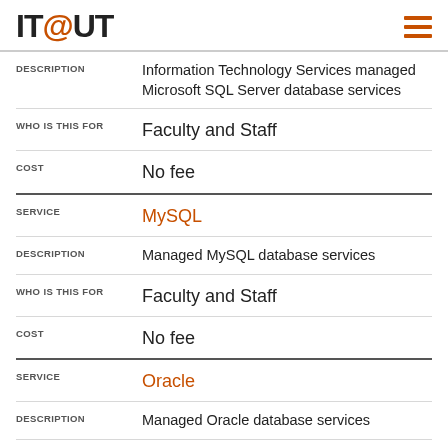IT@UT
DESCRIPTION: Information Technology Services managed Microsoft SQL Server database services
WHO IS THIS FOR: Faculty and Staff
COST: No fee
SERVICE: MySQL
DESCRIPTION: Managed MySQL database services
WHO IS THIS FOR: Faculty and Staff
COST: No fee
SERVICE: Oracle
DESCRIPTION: Managed Oracle database services
WHO IS THIS FOR: Faculty and Staff